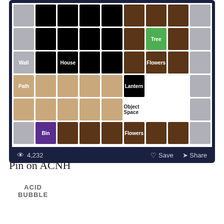[Figure (screenshot): A grid-based layout map/planner screenshot showing colored cells labeled with: Tree (green), Wall (gray), House (black), Flowers (brown, twice), Path (tan), Lantern (black), Object Space (white area), Bin (purple). Below the grid is a dark bar with view count 4,232 and Save/Share buttons.]
Pin on ACNH
[Figure (screenshot): Partial screenshot of a butterfly reference chart on a tan/cream background with dark border, and 'ACID BUBBLE' text logo to the right.]